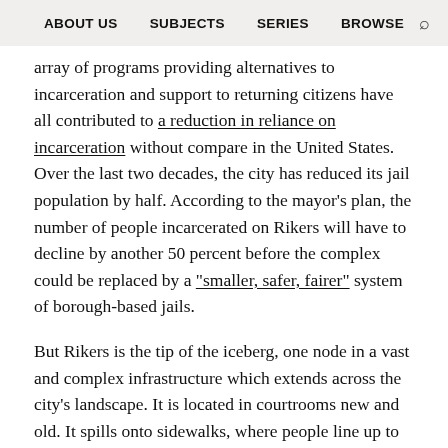ABOUT US   SUBJECTS   SERIES   BROWSE
array of programs providing alternatives to incarceration and support to returning citizens have all contributed to a reduction in reliance on incarceration without compare in the United States. Over the last two decades, the city has reduced its jail population by half. According to the mayor’s plan, the number of people incarcerated on Rikers will have to decline by another 50 percent before the complex could be replaced by a “smaller, safer, fairer” system of borough-based jails.
But Rikers is the tip of the iceberg, one node in a vast and complex infrastructure which extends across the city’s landscape. It is located in courtrooms new and old. It spills onto sidewalks, where people line up to get into the courthouse or probation office. It is on the buses that take people to visit family members held at Rikers, and deposit those released from jail at Queens Plaza. It is in the